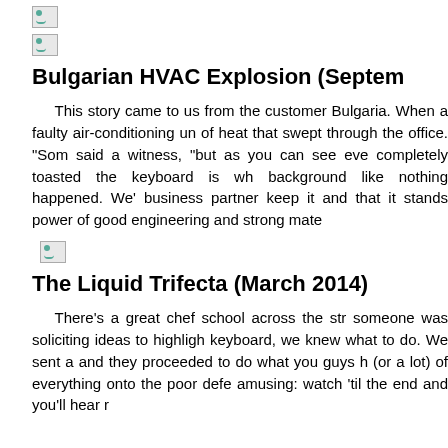[Figure (photo): Small broken image placeholder icon, first]
[Figure (photo): Small broken image placeholder icon, second]
Bulgarian HVAC Explosion (Septem...
This story came to us from the customer... Bulgaria. When a faulty air-conditioning un... of heat that swept through the office. "Som... said a witness, "but as you can see eve... completely toasted the keyboard is wh... background like nothing happened. We'... business partner keep it and that it stands... power of good engineering and strong mate...
[Figure (photo): Small broken image placeholder icon, third]
The Liquid Trifecta (March 2014)
There's a great chef school across the str... someone was soliciting ideas to highligh... keyboard, we knew what to do. We sent a... and they proceeded to do what you guys h... (or a lot) of everything onto the poor defe... amusing: watch 'til the end and you'll hear r...